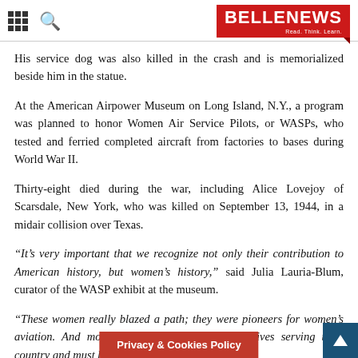BELLENEWS — Read. Think. Learn.
His service dog was also killed in the crash and is memorialized beside him in the statue.
At the American Airpower Museum on Long Island, N.Y., a program was planned to honor Women Air Service Pilots, or WASPs, who tested and ferried completed aircraft from factories to bases during World War II.
Thirty-eight died during the war, including Alice Lovejoy of Scarsdale, New York, who was killed on September 13, 1944, in a midair collision over Texas.
“It’s very important that we recognize not only their contribution to American history, but women’s history,” said Julia Lauria-Blum, curator of the WASP exhibit at the museum.
“These women really blazed a path; they were pioneers for women’s aviation. And most important, they gave their lives serving their country and must be honored like anyone else